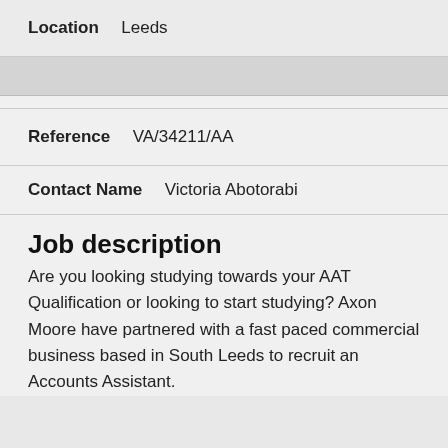| Location | Leeds |
| Reference | VA/34211/AA |
| Contact Name | Victoria Abotorabi |
Job description
Are you looking studying towards your AAT Qualification or looking to start studying? Axon Moore have partnered with a fast paced commercial business based in South Leeds to recruit an Accounts Assistant.